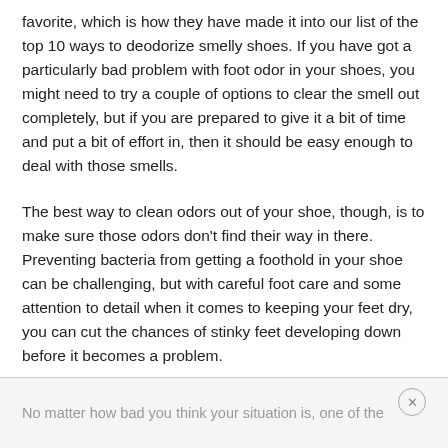favorite, which is how they have made it into our list of the top 10 ways to deodorize smelly shoes. If you have got a particularly bad problem with foot odor in your shoes, you might need to try a couple of options to clear the smell out completely, but if you are prepared to give it a bit of time and put a bit of effort in, then it should be easy enough to deal with those smells.
The best way to clean odors out of your shoe, though, is to make sure those odors don’t find their way in there. Preventing bacteria from getting a foothold in your shoe can be challenging, but with careful foot care and some attention to detail when it comes to keeping your feet dry, you can cut the chances of stinky feet developing down before it becomes a problem.
No matter how bad you think your situation is, one of the